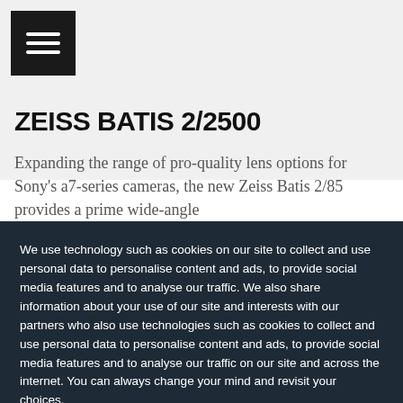[Figure (screenshot): Partial view of a camera lens (Zeiss Batis) at the top of the page against a light grey background]
ZEISS BATIS 2/2500
Expanding the range of pro-quality lens options for Sony's a7-series cameras, the new Zeiss Batis 2/85 provides a prime wide-angle
We use technology such as cookies on our site to collect and use personal data to personalise content and ads, to provide social media features and to analyse our traffic. We also share information about your use of our site and interests with our partners who also use technologies such as cookies to collect and use personal data to personalise content and ads, to provide social media features and to analyse our traffic on our site and across the internet. You can always change your mind and revisit your choices.
Manage Options | I Accept